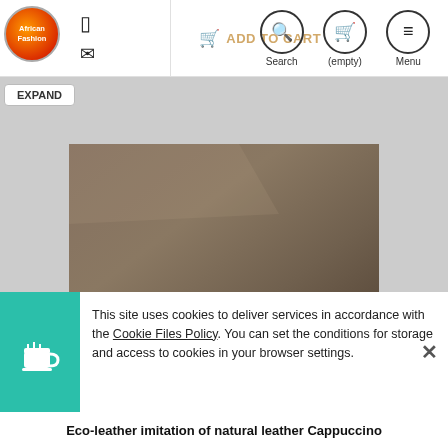[Figure (logo): African Fashion circular logo with red and orange colors]
[Figure (screenshot): Navigation bar with mobile icon, email icon, Add to Cart button, Search button, (empty) cart button, Menu button]
EXPAND
[Figure (photo): Eco-leather fabric in cappuccino/brown color folded flat showing texture and surface]
This site uses cookies to deliver services in accordance with the Cookie Files Policy. You can set the conditions for storage and access to cookies in your browser settings.
Eco-leather imitation of natural leather Cappuccino